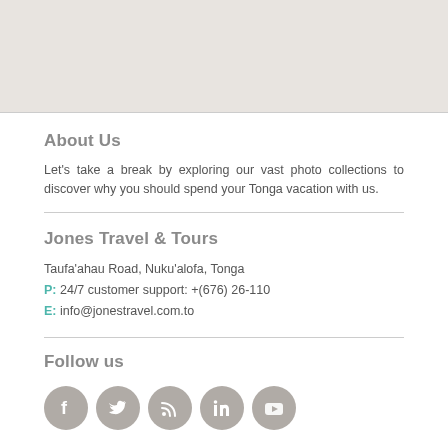[Figure (photo): Light beige/grey banner image at top of page]
About Us
Let's take a break by exploring our vast photo collections to discover why you should spend your Tonga vacation with us.
Jones Travel & Tours
Taufa'ahau Road, Nuku'alofa, Tonga
P: 24/7 customer support: +(676) 26-110
E: info@jonestravel.com.to
Follow us
[Figure (illustration): Five social media icons: Facebook, Twitter, RSS, LinkedIn, YouTube — displayed as grey circular buttons]